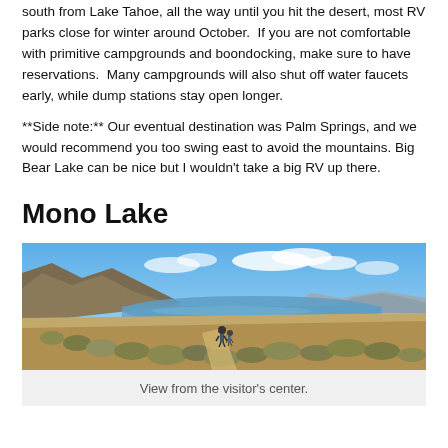south from Lake Tahoe, all the way until you hit the desert, most RV parks close for winter around October.  If you are not comfortable with primitive campgrounds and boondocking, make sure to have reservations.  Many campgrounds will also shut off water faucets early, while dump stations stay open longer.
**Side note:** Our eventual destination was Palm Springs, and we would recommend you too swing east to avoid the mountains. Big Bear Lake can be nice but I wouldn't take a big RV up there.
Mono Lake
[Figure (photo): Panoramic view of Mono Lake from the visitor's center, showing arid scrubland in the foreground, the lake in the middle ground, and mountains under a blue sky with clouds.]
View from the visitor's center.